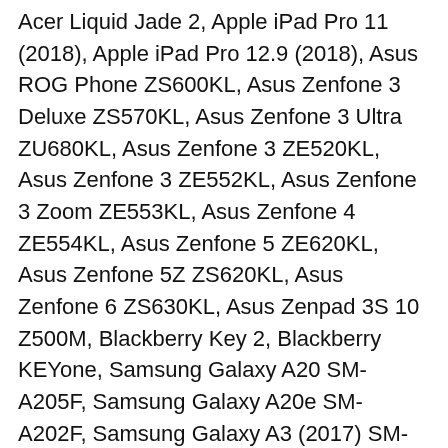Acer Liquid Jade 2, Apple iPad Pro 11 (2018), Apple iPad Pro 12.9 (2018), Asus ROG Phone ZS600KL, Asus Zenfone 3 Deluxe ZS570KL, Asus Zenfone 3 Ultra ZU680KL, Asus Zenfone 3 ZE520KL, Asus Zenfone 3 ZE552KL, Asus Zenfone 3 Zoom ZE553KL, Asus Zenfone 4 ZE554KL, Asus Zenfone 5 ZE620KL, Asus Zenfone 5Z ZS620KL, Asus Zenfone 6 ZS630KL, Asus Zenpad 3S 10 Z500M, Blackberry Key 2, Blackberry KEYone, Samsung Galaxy A20 SM-A205F, Samsung Galaxy A20e SM-A202F, Samsung Galaxy A3 (2017) SM-A320F, Samsung Galaxy A30 SM-A305F, Samsung Galaxy A40 SM-A405F, Samsung Galaxy A5 (2017) SM-A520F, Samsung Galaxy A50 SM-A505F, Samsung Galaxy A60 SM-A606F, Samsung Galaxy A7 (2017) SM-A720F, Samsung Galaxy A70 SM-A705F, Samsung Galaxy A8 (2018) SM-A530F,